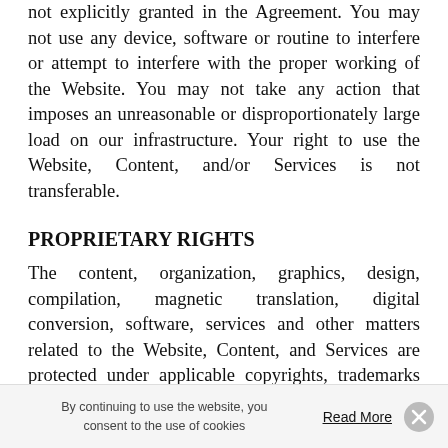not explicitly granted in the Agreement. You may not use any device, software or routine to interfere or attempt to interfere with the proper working of the Website. You may not take any action that imposes an unreasonable or disproportionately large load on our infrastructure. Your right to use the Website, Content, and/or Services is not transferable.
PROPRIETARY RIGHTS
The content, organization, graphics, design, compilation, magnetic translation, digital conversion, software, services and other matters related to the Website, Content, and Services are protected under applicable copyrights, trademarks and other proprietary (including, but not limited to, intellectual
By continuing to use the website, you consent to the use of cookies
Read More